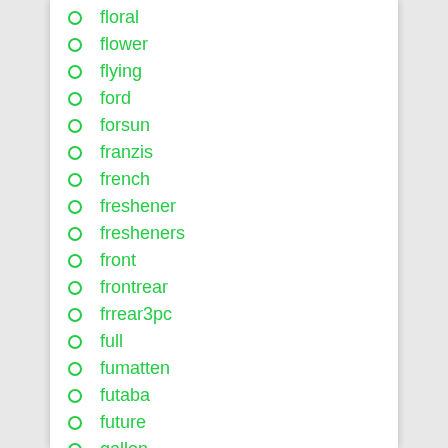floral
flower
flying
ford
forsun
franzis
french
freshener
fresheners
front
frontrear
frrear3pc
full
fumatten
futaba
future
gallon
gallotti
gang